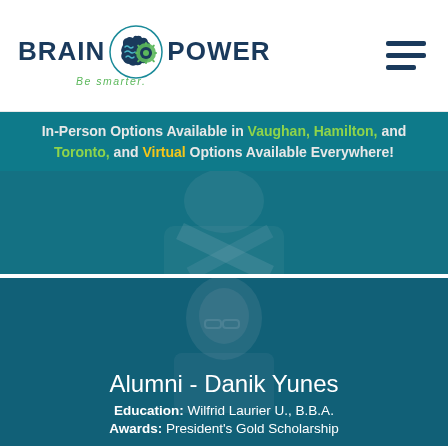[Figure (logo): Brain Power logo with brain icon and gear, tagline 'Be smarter.' in green]
[Figure (infographic): Hamburger menu icon (three horizontal lines) in navy blue]
In-Person Options Available in Vaughan, Hamilton, and Toronto, and Virtual Options Available Everywhere!
[Figure (photo): Blue-tinted photo of a person wearing a lab coat or professional attire, hero banner background]
[Figure (photo): Blue-tinted photo of a young man with glasses, Alumni Danik Yunes]
Alumni - Danik Yunes
Education: Wilfrid Laurier U., B.B.A.
Awards: President's Gold Scholarship